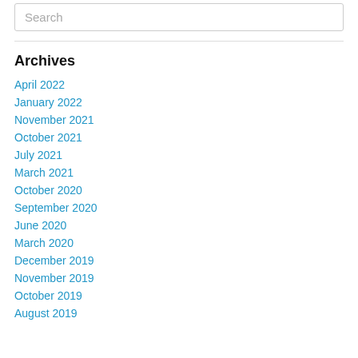Search
Archives
April 2022
January 2022
November 2021
October 2021
July 2021
March 2021
October 2020
September 2020
June 2020
March 2020
December 2019
November 2019
October 2019
August 2019